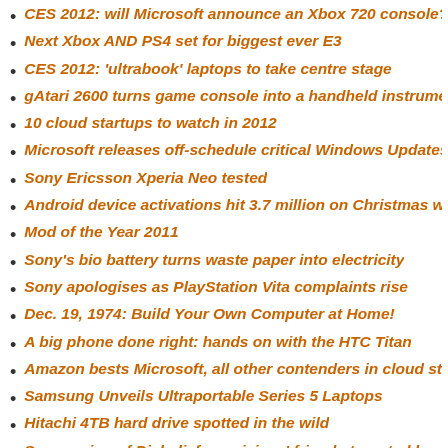CES 2012: will Microsoft announce an Xbox 720 console?
Next Xbox AND PS4 set for biggest ever E3
CES 2012: 'ultrabook' laptops to take centre stage
gAtari 2600 turns game console into a handheld instrument
10 cloud startups to watch in 2012
Microsoft releases off-schedule critical Windows Updates
Sony Ericsson Xperia Neo tested
Android device activations hit 3.7 million on Christmas weeken
Mod of the Year 2011
Sony's bio battery turns waste paper into electricity
Sony apologises as PlayStation Vita complaints rise
Dec. 19, 1974: Build Your Own Computer at Home!
A big phone done right: hands on with the HTC Titan
Amazon bests Microsoft, all other contenders in cloud storage
Samsung Unveils Ultraportable Series 5 Laptops
Hitachi 4TB hard drive spotted in the wild
Suspension of Disbelief: magicians' friends targeted by new pl
Tannoy TFX review
We're watching: malls track shopper's cell phone signals to ga
Cyborg search-and-rescue insects' power source unveiled
Can the iPhone 4S replace a 'real' digital camera?
Battery redesign could make phones charge in 15 minutes, las
Assassin's Creed Revelations review: the upside of yearly rele
Gigabyte releases new X79 boards
New Facebook iPhone app forcing people to actually talk to ea
The Asus Zenbook: a steely marvel with an appalling trackpad